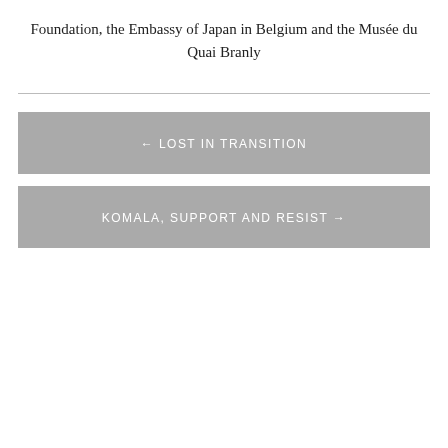Foundation, the Embassy of Japan in Belgium and the Musée du Quai Branly
← LOST IN TRANSITION
KOMALA, SUPPORT AND RESIST →